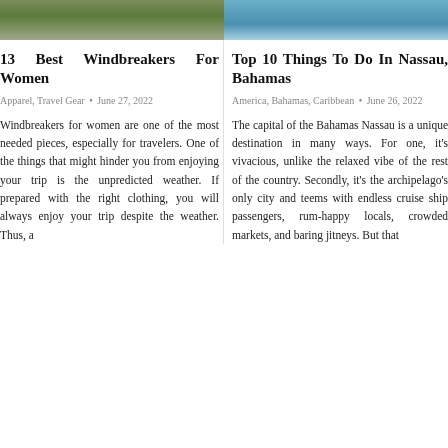[Figure (photo): Top portion of a photo showing people in outdoor/travel clothing (green jacket visible) on left column]
[Figure (photo): Top portion of a photo showing a blue water/swimming pool scene on right column]
13 Best Windbreakers For Women
Top 10 Things To Do In Nassau, Bahamas
Apparel, Travel Gear • June 27, 2022
America, Bahamas, Caribbean • June 26, 2022
Windbreakers for women are one of the most needed pieces, especially for travelers. One of the things that might hinder you from enjoying your trip is the unpredicted weather. If prepared with the right clothing, you will always enjoy your trip despite the weather. Thus, a
The capital of the Bahamas Nassau is a unique destination in many ways. For one, it's vivacious, unlike the relaxed vibe of the rest of the country. Secondly, it's the archipelago's only city and teems with endless cruise ship passengers, rum-happy locals, crowded markets, and baring jitneys. But that